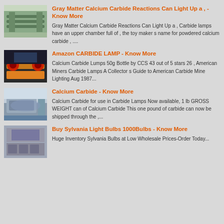[Figure (photo): Industrial conveyor or processing equipment in a factory setting]
Gray Matter Calcium Carbide Reactions Can Light Up a , - Know More
Gray Matter Calcium Carbide Reactions Can Light Up a , Carbide lamps have an upper chamber full of , the toy maker s name for powdered calcium carbide , ....
[Figure (photo): Industrial mining or processing machine with red and orange components]
Amazon CARBIDE LAMP - Know More
Calcium Carbide Lumps 50g Bottle by CCS 43 out of 5 stars 26 , American Miners Carbide Lamps A Collector s Guide to American Carbide Mine Lighting Aug 1987...
[Figure (photo): Industrial vibrating or screening equipment in a factory]
Calcium Carbide - Know More
Calcium Carbide for use in Carbide Lamps Now available, 1 lb GROSS WEIGHT can of Calcium Carbide This one pound of carbide can now be shipped through the ,...
[Figure (photo): Industrial manufacturing facility with stacked materials]
Buy Sylvania Light Bulbs 1000Bulbs - Know More
Huge Inventory Sylvania Bulbs at Low Wholesale Prices-Order Today...